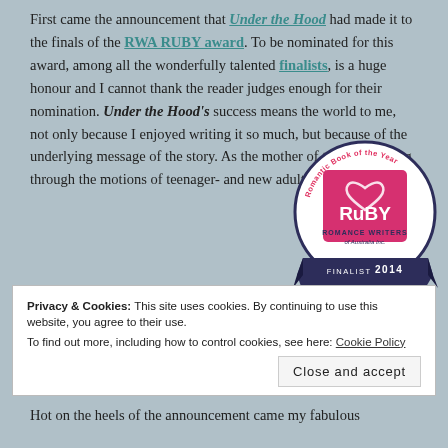First came the announcement that Under the Hood had made it to the finals of the RWA RUBY award. To be nominated for this award, among all the wonderfully talented finalists, is a huge honour and I cannot thank the reader judges enough for their nomination. Under the Hood's success means the world to me, not only because I enjoyed writing it so much, but because of the underlying message of the story. As the mother of two boys going through the motions of teenager- and new adulthood,
[Figure (logo): RuBY Romance Writers of Australia Inc. Romantic Book of the Year Finalist 2014 badge/seal — circular badge with dark navy ribbon at bottom reading FINALIST 2014, pink square with heart and RuBY text in center, text around circle reading Romantic Book of the Year, Romance Writers of Australia Inc.]
Privacy & Cookies: This site uses cookies. By continuing to use this website, you agree to their use.
To find out more, including how to control cookies, see here: Cookie Policy
Close and accept
Hot on the heels of the announcement came my fabulous